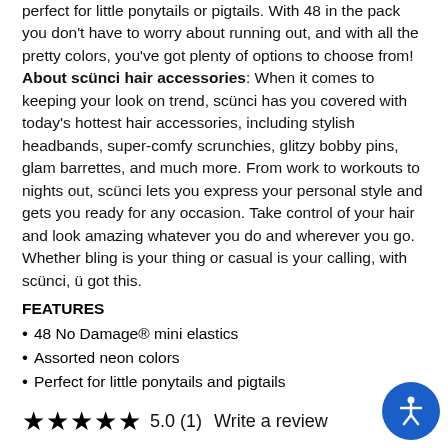perfect for little ponytails or pigtails. With 48 in the pack you don't have to worry about running out, and with all the pretty colors, you've got plenty of options to choose from! About scünci hair accessories: When it comes to keeping your look on trend, scünci has you covered with today's hottest hair accessories, including stylish headbands, super-comfy scrunchies, glitzy bobby pins, glam barrettes, and much more. From work to workouts to nights out, scünci lets you express your personal style and gets you ready for any occasion. Take control of your hair and look amazing whatever you do and wherever you go. Whether bling is your thing or casual is your calling, with scünci, ü got this.
FEATURES
48 No Damage® mini elastics
Assorted neon colors
Perfect for little ponytails and pigtails
★★★★★ 5.0 (1) Write a review
$3.99
Add To Cart